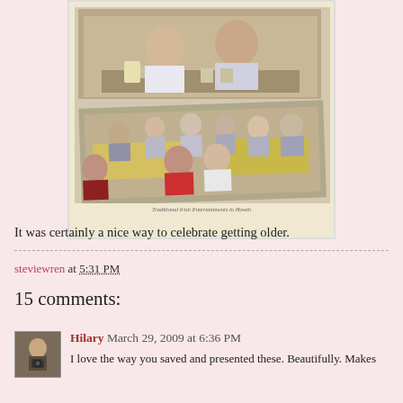[Figure (photo): A vintage-style polaroid photo showing two overlapping photographs: the top one features two women seated at a restaurant table with drinks, and the bottom one shows a larger group of people seated at tables in what appears to be a restaurant setting. A caption reads 'Traditional Irish Entertainments in Howth'.]
It was certainly a nice way to celebrate getting older.
steviewren at 5:31 PM
15 comments:
Hilary  March 29, 2009 at 6:36 PM
I love the way you saved and presented these. Beautifully. Makes